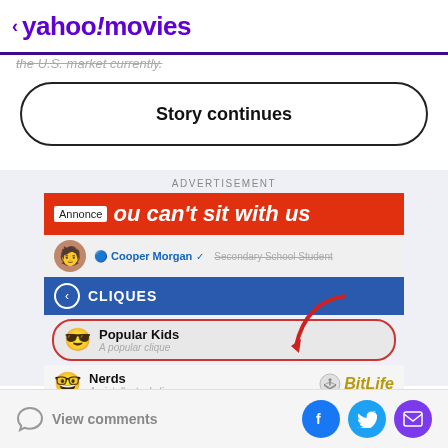< yahoo!movies
the U.S. market currently.
Story continues
ADVERTISEMENT
[Figure (screenshot): BitLife Life Simulator advertisement showing 'you can't sit with us' banner with Cliques game feature, Popular Kids and Nerds options]
BitLife - Life Simulator
View comments